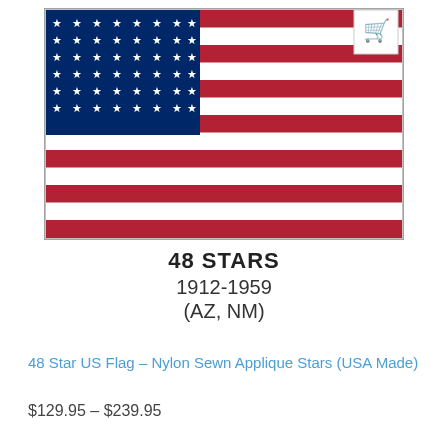[Figure (illustration): American flag with 48 stars arranged in 6 rows of 8 stars on a navy blue canton, with 13 red and white stripes. A shopping cart icon appears in the upper right corner overlay.]
48 STARS
1912-1959
(AZ, NM)
48 Star US Flag – Nylon Sewn Applique Stars (USA Made)
$129.95 – $239.95